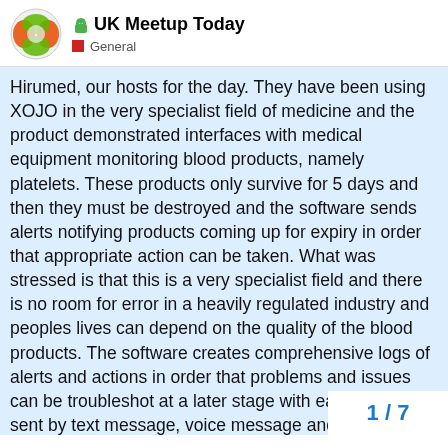UK Meetup Today — General
Hirumed, our hosts for the day. They have been using XOJO in the very specialist field of medicine and the product demonstrated interfaces with medical equipment monitoring blood products, namely platelets. These products only survive for 5 days and then they must be destroyed and the software sends alerts notifying products coming up for expiry in order that appropriate action can be taken. What was stressed is that this is a very specialist field and there is no room for error in a heavily regulated industry and peoples lives can depend on the quality of the blood products. The software creates comprehensive logs of alerts and actions in order that problems and issues can be troubleshot at a later stage with ease. Alerts are sent by text message, voice message and other means to ensure that messages on the expiring products 'definitely' get through. Like most of us gathered in the room they had settled on XOJO having come from a background of Visual Basic 6 (some applications they have were still running and working fine as the original VB6 applications). I would u website and take a look at the sort of work
1 / 7